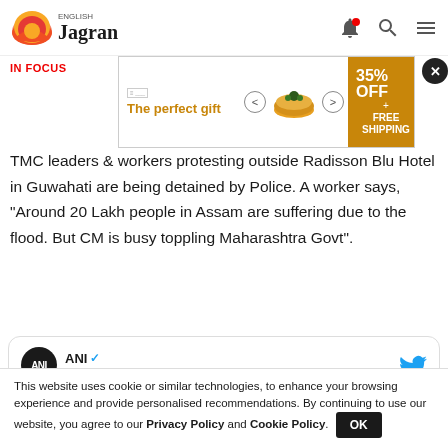English Jagran
[Figure (screenshot): Advertisement banner: 'The perfect gift' with bowl image and 35% OFF + FREE SHIPPING offer]
TMC leaders & workers protesting outside Radisson Blu Hotel in Guwahati are being detained by Police. A worker says, "Around 20 Lakh people in Assam are suffering due to the flood. But CM is busy toppling Maharashtra Govt".
[Figure (screenshot): Embedded tweet from ANI (@ANI): #WATCH | Members and workers of Assam unit of TMC protest outside Radisson Blu Hotel in Guwahati where rebel Maharashtra MLAs...]
This website uses cookie or similar technologies, to enhance your browsing experience and provide personalised recommendations. By continuing to use our website, you agree to our Privacy Policy and Cookie Policy.